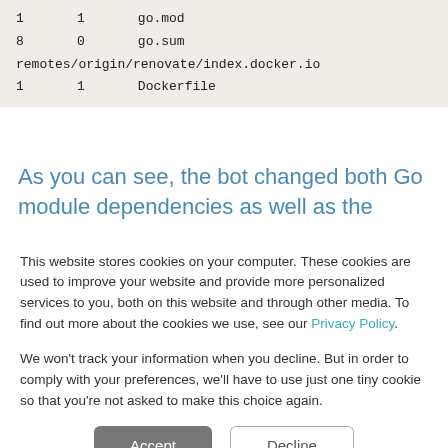| 1 | 1 | go.mod |
| 8 | 0 | go.sum |
| remotes/origin/renovate/index.docker.io |  |  |
| 1 | 1 | Dockerfile |
As you can see, the bot changed both Go module dependencies as well as the Dockerfile image
This website stores cookies on your computer. These cookies are used to improve your website and provide more personalized services to you, both on this website and through other media. To find out more about the cookies we use, see our Privacy Policy.

We won't track your information when you decline. But in order to comply with your preferences, we'll have to use just one tiny cookie so that you're not asked to make this choice again.
Accept | Decline